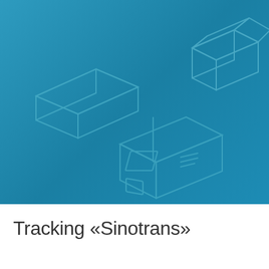[Figure (illustration): Blue gradient background with three isometric box/package icons drawn in a slightly lighter teal outline style. Top-left: open flat box (lid). Top-right: open box with lid tilted. Center: closed shipping box with tape lines and label lines on the side.]
Tracking «Sinotrans»